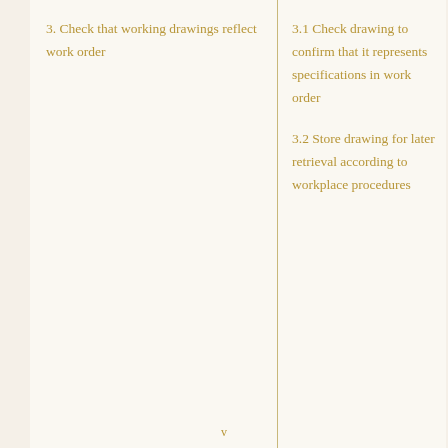3. Check that working drawings reflect work order
3.1 Check drawing to confirm that it represents specifications in work order
3.2 Store drawing for later retrieval according to workplace procedures
v